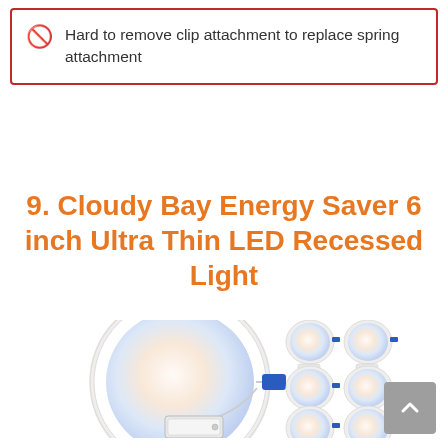Hard to remove clip attachment to replace spring attachment
9. Cloudy Bay Energy Saver 6 inch Ultra Thin LED Recessed Light
[Figure (photo): Product photo of Cloudy Bay Energy Saver 6 inch Ultra Thin LED Recessed Light showing one large circular LED light fixture with a blue connector and a junction box, alongside a set of six smaller identical lights arranged in three rows of two.]